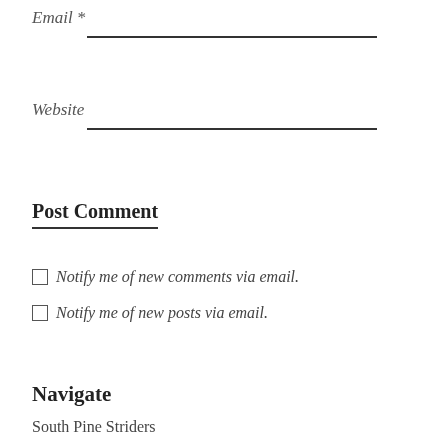Email *
Website
Post Comment
Notify me of new comments via email.
Notify me of new posts via email.
Navigate
South Pine Striders